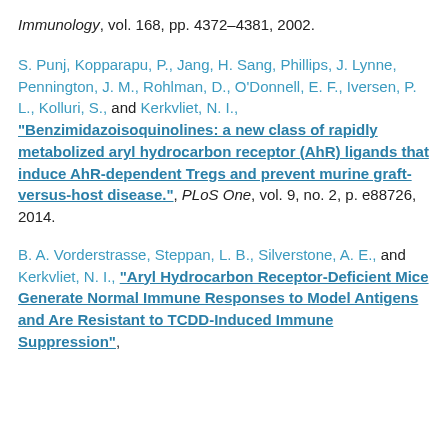Immunology, vol. 168, pp. 4372–4381, 2002.
S. Punj, Kopparapu, P., Jang, H. Sang, Phillips, J. Lynne, Pennington, J. M., Rohlman, D., O'Donnell, E. F., Iversen, P. L., Kolluri, S., and Kerkvliet, N. I., "Benzimidazoisoquinolines: a new class of rapidly metabolized aryl hydrocarbon receptor (AhR) ligands that induce AhR-dependent Tregs and prevent murine graft-versus-host disease.", PLoS One, vol. 9, no. 2, p. e88726, 2014.
B. A. Vorderstrasse, Steppan, L. B., Silverstone, A. E., and Kerkvliet, N. I., "Aryl Hydrocarbon Receptor-Deficient Mice Generate Normal Immune Responses to Model Antigens and Are Resistant to TCDD-Induced Immune Suppression",